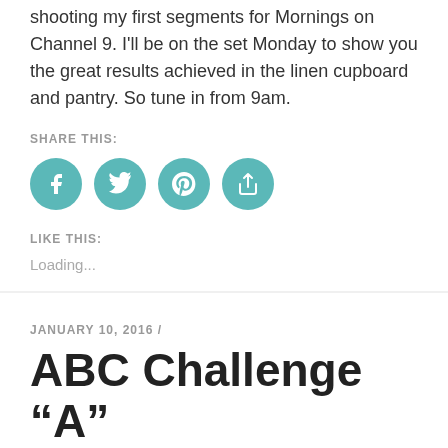shooting my first segments for Mornings on Channel 9. I'll be on the set Monday to show you the great results achieved in the linen cupboard and pantry. So tune in from 9am.
SHARE THIS:
[Figure (infographic): Four teal circular social media share buttons: Facebook, Twitter, Pinterest, and a general share icon]
LIKE THIS:
Loading...
JANUARY 10, 2016 /
ABC Challenge “A”
So here it is! Week 1 of the ABC Declutter Challenge. Its time to declutter something starting with "A". Have you